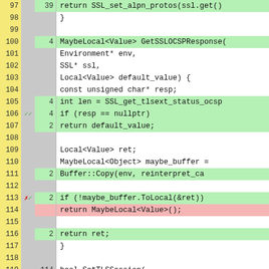[Figure (screenshot): Code coverage viewer showing C++ source code lines 97-122 with line numbers, coverage markers (checkmarks/crosses), hit counts, and source code. Green highlighting indicates covered lines, red highlighting indicates uncovered lines, gray background for non-executable lines.]